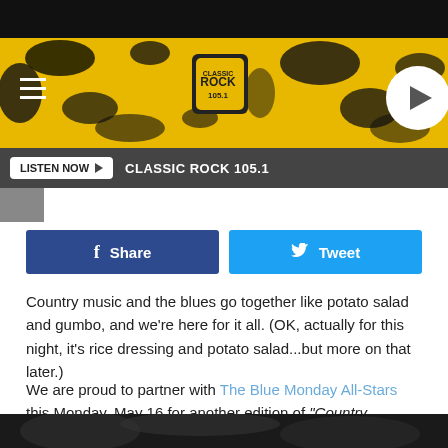[Figure (screenshot): Classic Rock 105.1 radio station website banner with yellow and black splatter design, hamburger menu, logo, and play button]
LISTEN NOW ▶   CLASSIC ROCK 105.1
[Figure (screenshot): Facebook Share button (dark blue) and Tweet button (light blue) side by side]
Country music and the blues go together like potato salad and gumbo, and we're here for it all. (OK, actually for this night, it's rice dressing and potato salad...but more on that later.)
We are proud to partner with The Blue Monday All-Stars this Monday, May 16 for another edition of "Country, Rhythm & Blue Monday," presented by Quality of Life Services.